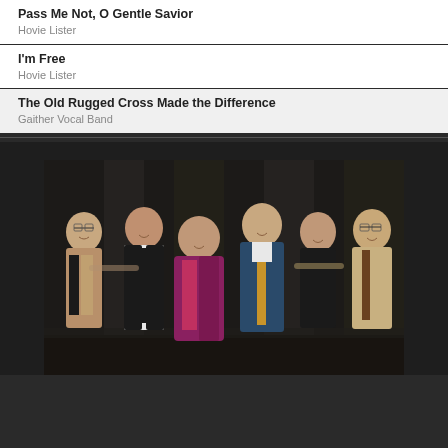Pass Me Not, O Gentle Savior
Hovie Lister
I'm Free
Hovie Lister
The Old Rugged Cross Made the Difference
Gaither Vocal Band
[Figure (photo): Group photo of six adults (four men and two women) posing together, standing in a line, smiling at the camera in what appears to be a formal or event setting with dark background.]